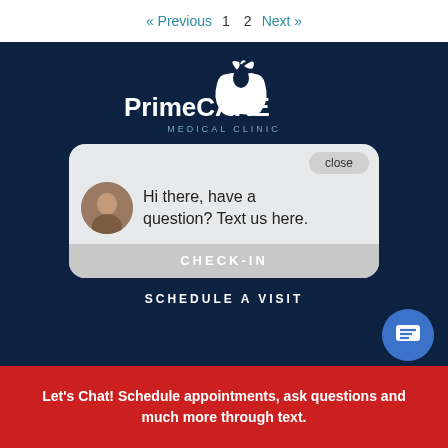« Previous  1  2  Next »
[Figure (screenshot): PrimeCARE Medical Clinic website screenshot showing dark navy background with white apple logo and clinic name, a chat popup bubble with avatar and text 'Hi there, have a question? Text us here.' with a CHECK-IN bar, a SCHEDULE A VISIT label, a blue chat icon button, and a red banner at the bottom reading 'Let's Chat! Schedule appointments, ask questions and much more through text.']